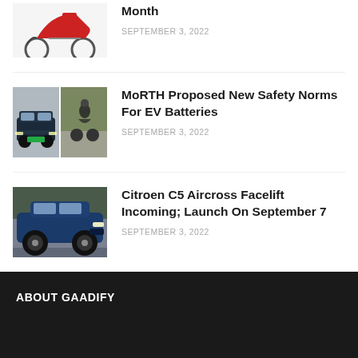[Figure (photo): Red scooter/electric scooter thumbnail image (top, partial)]
Month
SEPTEMBER 3, 2022
[Figure (photo): Two-panel thumbnail: left shows a Tata SUV car front, right shows a motorcyclist on road]
MoRTH Proposed New Safety Norms For EV Batteries
SEPTEMBER 3, 2022
[Figure (photo): Dark blue Citroen C5 Aircross SUV parked in front of a modern building]
Citroen C5 Aircross Facelift Incoming; Launch On September 7
SEPTEMBER 3, 2022
ABOUT GAADIFY